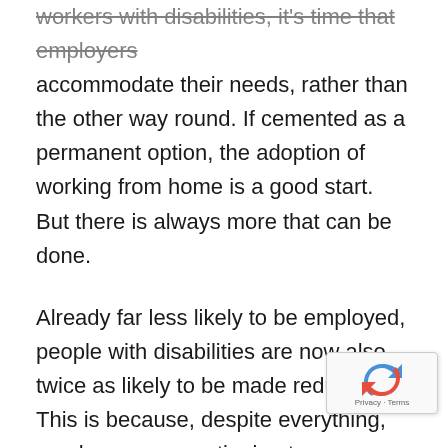workers with disabilities, it's time that employers accommodate their needs, rather than the other way round. If cemented as a permanent option, the adoption of working from home is a good start. But there is always more that can be done.
Already far less likely to be employed, people with disabilities are now also twice as likely to be made redundant. This is because, despite everything, employers are continuing to see differences as problematic. The thing is, they'll be the ones who miss out in the end.
The disabled community is a wealth of overlooked talent, skills and expertise. The very fact that we have different needs and have had different experiences means tha[t we're] able to offer fresh perspectives and creative solution[s to] business challenges.